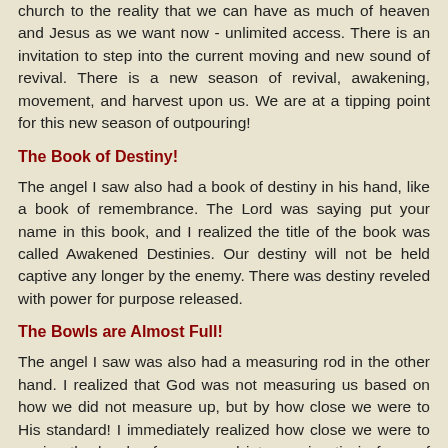church to the reality that we can have as much of heaven and Jesus as we want now - unlimited access. There is an invitation to step into the current moving and new sound of revival. There is a new season of revival, awakening, movement, and harvest upon us. We are at a tipping point for this new season of outpouring!
The Book of Destiny!
The angel I saw also had a book of destiny in his hand, like a book of remembrance. The Lord was saying put your name in this book, and I realized the title of the book was called Awakened Destinies. Our destiny will not be held captive any longer by the enemy. There was destiny reveled with power for purpose released.
The Bowls are Almost Full!
The angel I saw was also had a measuring rod in the other hand. I realized that God was not measuring us based on how we did not measure up, but by how close we were to His standard! I immediately realized how close we were to seeing the bowls of prayer and intercession tip in favor of an